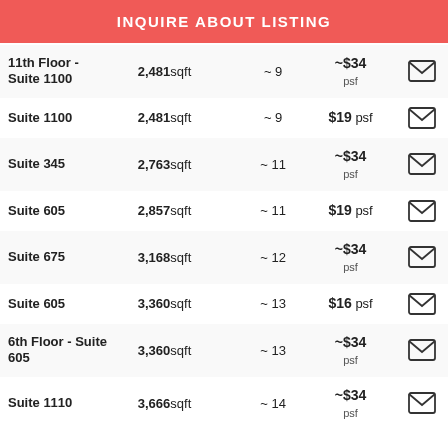INQUIRE ABOUT LISTING
| Suite | Size | Offices | Price | Contact |
| --- | --- | --- | --- | --- |
| 11th Floor - Suite 1100 | 2,481 sqft | ~ 9 | ~$34 psf |  |
| Suite 1100 | 2,481 sqft | ~ 9 | $19 psf |  |
| Suite 345 | 2,763 sqft | ~ 11 | ~$34 psf |  |
| Suite 605 | 2,857 sqft | ~ 11 | $19 psf |  |
| Suite 675 | 3,168 sqft | ~ 12 | ~$34 psf |  |
| Suite 605 | 3,360 sqft | ~ 13 | $16 psf |  |
| 6th Floor - Suite 605 | 3,360 sqft | ~ 13 | ~$34 psf |  |
| Suite 1110 | 3,666 sqft | ~ 14 | ~$34 psf |  |